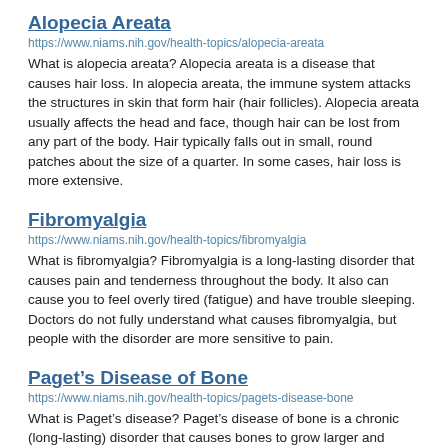Alopecia Areata
https://www.niams.nih.gov/health-topics/alopecia-areata
What is alopecia areata? Alopecia areata is a disease that causes hair loss. In alopecia areata, the immune system attacks the structures in skin that form hair (hair follicles). Alopecia areata usually affects the head and face, though hair can be lost from any part of the body. Hair typically falls out in small, round patches about the size of a quarter. In some cases, hair loss is more extensive.
Fibromyalgia
https://www.niams.nih.gov/health-topics/fibromyalgia
What is fibromyalgia? Fibromyalgia is a long-lasting disorder that causes pain and tenderness throughout the body. It also can cause you to feel overly tired (fatigue) and have trouble sleeping. Doctors do not fully understand what causes fibromyalgia, but people with the disorder are more sensitive to pain.
Paget’s Disease of Bone
https://www.niams.nih.gov/health-topics/pagets-disease-bone
What is Paget’s disease? Paget’s disease of bone is a chronic (long-lasting) disorder that causes bones to grow larger and become